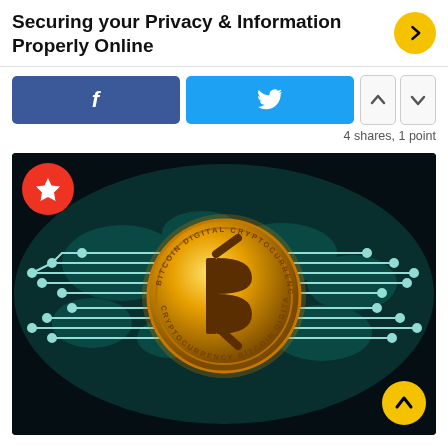Securing your Privacy & Information Properly Online
[Figure (screenshot): Facebook share button (blue), Twitter share button (light blue), and up/down vote buttons]
4 shares, 1 point
[Figure (photo): Bitcoin digital cryptocurrency coin with circuit board lines extending left and right on a dark teal world map background. Text around coin reads: BITCOIN DIGITAL CRYPTOCURRENCY. Red star badge in top left corner, yellow up-arrow button in bottom right.]